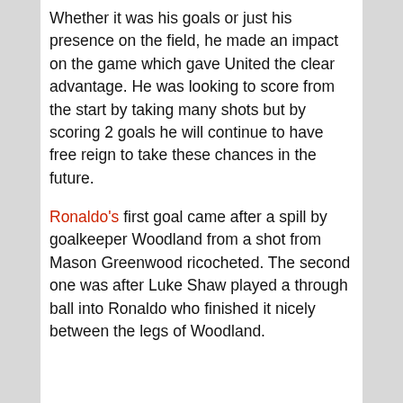Whether it was his goals or just his presence on the field, he made an impact on the game which gave United the clear advantage. He was looking to score from the start by taking many shots but by scoring 2 goals he will continue to have free reign to take these chances in the future.
Ronaldo's first goal came after a spill by goalkeeper Woodland from a shot from Mason Greenwood ricocheted. The second one was after Luke Shaw played a through ball into Ronaldo who finished it nicely between the legs of Woodland.